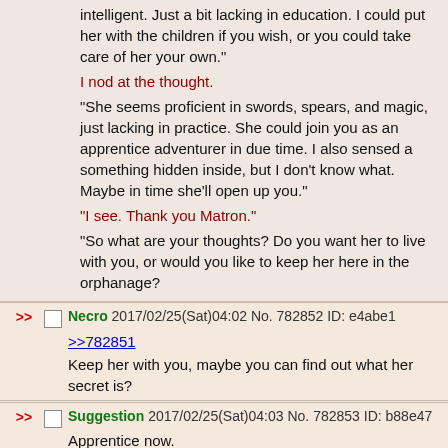intelligent. Just a bit lacking in education. I could put her with the children if you wish, or you could take care of her your own." I nod at the thought. "She seems proficient in swords, spears, and magic, just lacking in practice. She could join you as an apprentice adventurer in due time. I also sensed a something hidden inside, but I don't know what. Maybe in time she'll open up you." "I see. Thank you Matron." "So what are your thoughts? Do you want her to live with you, or would you like to keep her here in the orphanage?
Necro 2017/02/25(Sat)04:02 No. 782852 ID: e4abe1
>>782851
Keep her with you, maybe you can find out what her secret is?
Suggestion 2017/02/25(Sat)04:03 No. 782853 ID: b88e47
Apprentice now.
Suggestion 2017/02/25(Sat)04:42 No. 782856 ID: fa73ea
>>782851